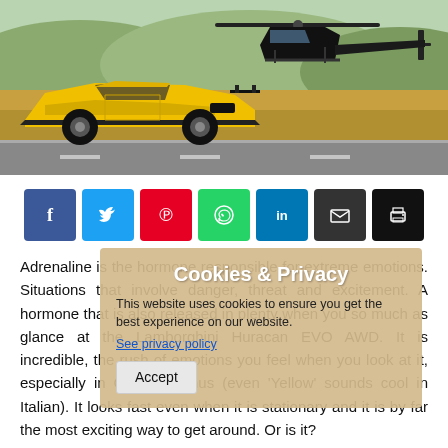[Figure (photo): Yellow Lamborghini Huracan EVO sports car parked on a road next to a black helicopter, with a dry grassy landscape and hills in the background.]
[Figure (infographic): Social sharing buttons: Facebook (blue), Twitter (cyan), Pinterest (red), WhatsApp (green), LinkedIn (blue), Email (dark grey), Print (black)]
Adrenaline is the hormone responsible for extreme emotions. Situations that involve danger, threat and excitement. A hormone that is also released in plenty when you so much as glance at the Lamborghini Huracan EVO AWD. It is incredible, the rush of emotions you feel when you look at it, especially in Giallo Belenus (even 'Yellow' sounds cool in Italian). It looks fast even when it is stationary and it is by far the most exciting way to get around. Or is it?
Cookies & Privacy
This website uses cookies to ensure you get the best experience on our website.
See privacy policy
Accept